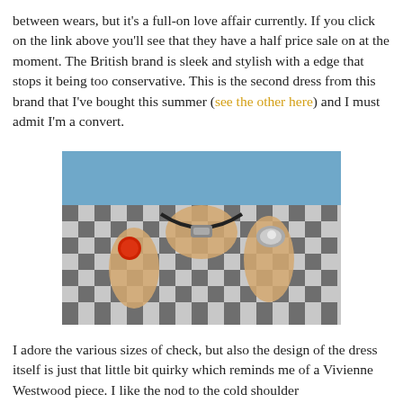between wears, but it's a full-on love affair currently. If you click on the link above you'll see that they have a half price sale on at the moment. The British brand is sleek and stylish with a edge that stops it being too conservative. This is the second dress from this brand that I've bought this summer (see the other here) and I must admit I'm a convert.
[Figure (photo): Close-up photo of a person wearing a black and white gingham/check dress, holding the collar open with both hands. The person is wearing a large red ring on one hand and a large silver ring on the other hand, along with a chunky necklace with black and silver elements.]
I adore the various sizes of check, but also the design of the dress itself is just that little bit quirky which reminds me of a Vivienne Westwood piece. I like the nod to the cold shoulder